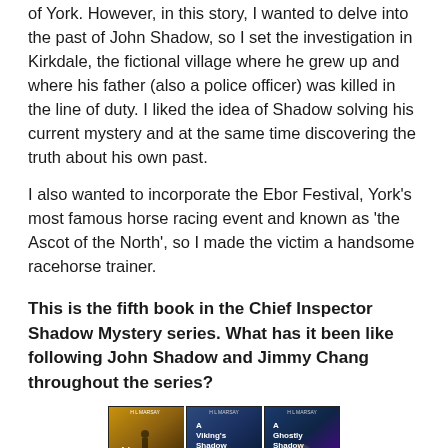of York. However, in this story, I wanted to delve into the past of John Shadow, so I set the investigation in Kirkdale, the fictional village where he grew up and where his father (also a police officer) was killed in the line of duty. I liked the idea of Shadow solving his current mystery and at the same time discovering the truth about his own past.
I also wanted to incorporate the Ebor Festival, York's most famous horse racing event and known as 'the Ascot of the North', so I made the victim a handsome racehorse trainer.
This is the fifth book in the Chief Inspector Shadow Mystery series. What has it been like following John Shadow and Jimmy Chang throughout the series?
[Figure (photo): A 2x3 grid of book covers from the Chief Inspector Shadow Mystery series by H.L. Marsay, including A Viking's Shadow, A Ghostly Shadow, A Long Shadow, A Roman Shadow, A Forgotten Shadow, and A Christmas Shadow.]